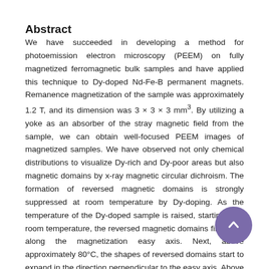Abstract
We have succeeded in developing a method for photoemission electron microscopy (PEEM) on fully magnetized ferromagnetic bulk samples and have applied this technique to Dy-doped Nd-Fe-B permanent magnets. Remanence magnetization of the sample was approximately 1.2 T, and its dimension was 3 × 3 × 3 mm³. By utilizing a yoke as an absorber of the stray magnetic field from the sample, we can obtain well-focused PEEM images of magnetized samples. We have observed not only chemical distributions to visualize Dy-rich and Dy-poor areas but also magnetic domains by x-ray magnetic circular dichroism. The formation of reversed magnetic domains is strongly suppressed at room temperature by Dy-doping. As the temperature of the Dy-doped sample is raised, starting from room temperature, the reversed magnetic domains first grow along the magnetization easy axis. Next, above approximately 80°C, the shapes of reversed domains start to expand in the direction perpendicular to the easy axis. Above approximately 85°C, the reversed domains cover more than half of the field of view of 30 μm. More importantly, the reversed magnetic domains tend to